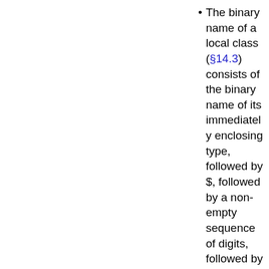The binary name of a local class (§14.3) consists of the binary name of its immediately enclosing type, followed by $, followed by a non-empty sequence of digits, followed by the simple